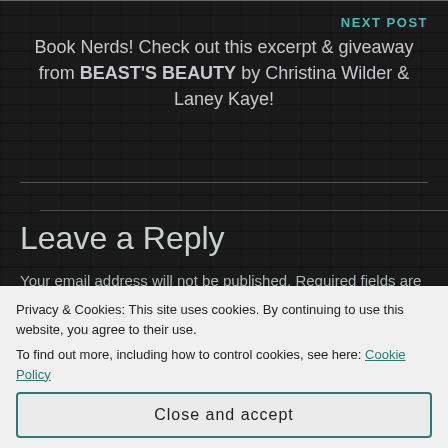NEXT POST
Book Nerds! Check out this excerpt & giveaway from BEAST'S BEAUTY by Christina Wilder & Laney Kaye!
Leave a Reply
Your email address will not be published. Required fields are marked *
Privacy & Cookies: This site uses cookies. By continuing to use this website, you agree to their use.
To find out more, including how to control cookies, see here: Cookie Policy
Close and accept